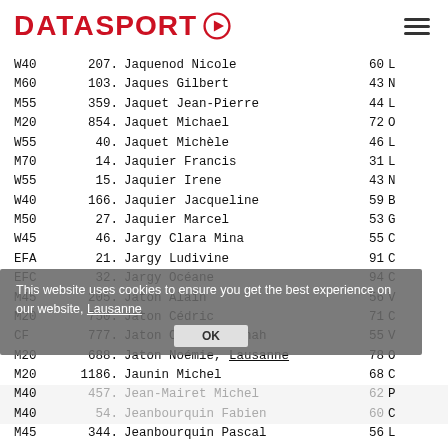DATASPORT (logo with play button icon and hamburger menu)
| Category | Rank | Name | Age/Num | Location |
| --- | --- | --- | --- | --- |
| W40 | 207. | Jaquenod Nicole | 60 | L |
| M60 | 103. | Jaques Gilbert | 43 | N |
| M55 | 359. | Jaquet Jean-Pierre | 44 | L |
| M20 | 854. | Jaquet Michael | 72 | O |
| W55 | 40. | Jaquet Michèle | 46 | L |
| M70 | 14. | Jaquier Francis | 31 | L |
| W55 | 15. | Jaquier Irene | 43 | N |
| W40 | 166. | Jaquier Jacqueline | 59 | B |
| M50 | 27. | Jaquier Marcel | 53 | G |
| W45 | 46. | Jargy Clara Mina | 55 | C |
| EFA | 21. | Jargy Ludivine | 91 | C |
| EFC | 32. | Jargy Océane | 94 | C |
| M45 | 205. | Jaton Alain | 56 | V |
| M20 | 750. | Jaton Cédric | 71 | C |
| CF | 777. | Jaton Cassie Hannah | 55 | V |
| M20 | 688. | Jaton Noémie, Lausanne | 78 | O |
| M20 | 1186. | Jaunin Michel | 68 | C |
| M40 | 457. | Jean-Mairet Michel | 62 | P |
| M40 | 54. | Jeanbourquin Fabien | 60 | C |
| M45 | 344. | Jeanbourquin Pascal | 56 | L |
This website uses cookies to ensure you get the best experience on our website, Lausanne OK